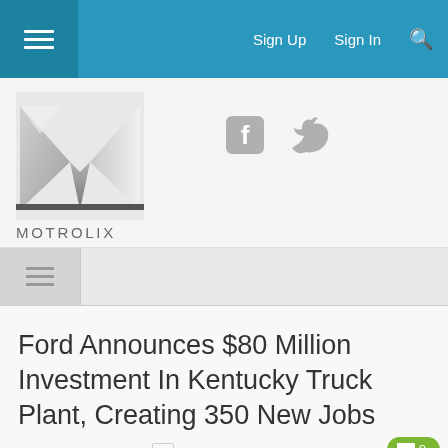Sign Up  Sign In
[Figure (logo): Motrolix logo — stylized silver M letterform above the text MOTROLIX]
[Figure (other): Facebook and Twitter social media icons]
Ford Announces $80 Million Investment In Kentucky Truck Plant, Creating 350 New Jobs
BY CHRIS ECCLESTONE